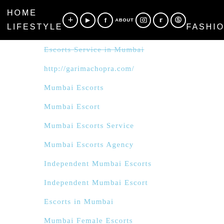HOME  LIFESTYLE  ABOUT  FASHION
Escorts Service in Mumbai
http://garimachopra.com/
Mumbai Escorts
Mumbai Escort
Mumbai Escorts Service
Mumbai Escorts Agency
Independent Mumbai Escorts
Independent Mumbai Escort
Escorts in Mumbai
Mumbai Female Escorts
Independent Mumbai Escorts